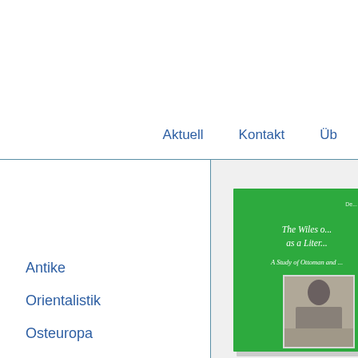Aktuell
Kontakt
Üb
Antike
Orientalistik
Osteuropa
[Figure (photo): Green book cover titled 'The Wiles of ... as a Liter...' with subtitle 'A Study of Ottoman and ...' and a black-and-white photograph inset]